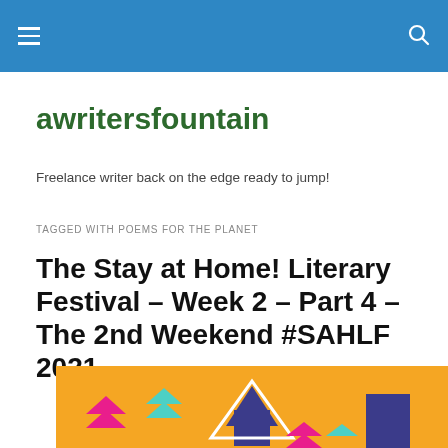[navigation bar with hamburger menu and search icon]
awritersfountain
Freelance writer back on the edge ready to jump!
TAGGED WITH POEMS FOR THE PLANET
The Stay at Home! Literary Festival – Week 2 – Part 4 – The 2nd Weekend #SAHLF 2021
[Figure (illustration): Colorful illustration with orange background showing stylized house shapes and book icons in pink, teal, and purple colors.]